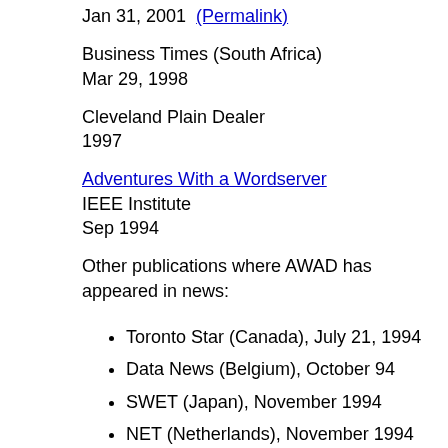Jan 31, 2001 (Permalink)
Business Times (South Africa)
Mar 29, 1998
Cleveland Plain Dealer
1997
Adventures With a Wordserver
IEEE Institute
Sep 1994
Other publications where AWAD has appeared in news:
Toronto Star (Canada), July 21, 1994
Data News (Belgium), October 94
SWET (Japan), November 1994
NET (Netherlands), November 1994